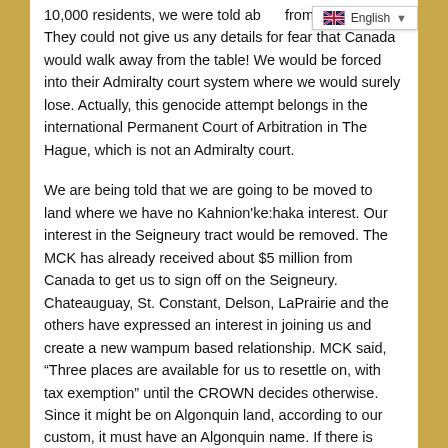10,000 residents, we were told about from the CROWN. They could not give us any details for fear that Canada would walk away from the table! We would be forced into their Admiralty court system where we would surely lose. Actually, this genocide attempt belongs in the international Permanent Court of Arbitration in The Hague, which is not an Admiralty court.
We are being told that we are going to be moved to land where we have no Kahnion'ke:haka interest. Our interest in the Seigneury tract would be removed. The MCK has already received about $5 million from Canada to get us to sign off on the Seigneury. Chateauguay, St. Constant, Delson, LaPrairie and the others have expressed an interest in joining us and create a new wampum based relationship. MCK said, “Three places are available for us to resettle on, with tax exemption” until the CROWN decides otherwise. Since it might be on Algonquin land, according to our custom, it must have an Algonquin name. If there is resistance from us, force is threatened. Video: This happened in Kitimat BC.